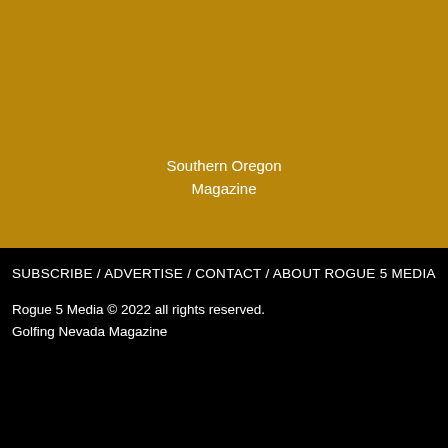[Figure (illustration): Large golden/dark yellow rectangular background area taking up the top half of the page]
Southern Oregon Magazine
SUBSCRIBE  / ADVERTISE / CONTACT / ABOUT ROGUE 5 MEDIA
Rogue 5 Media © 2022 all rights reserved.
Golfing Nevada Magazine